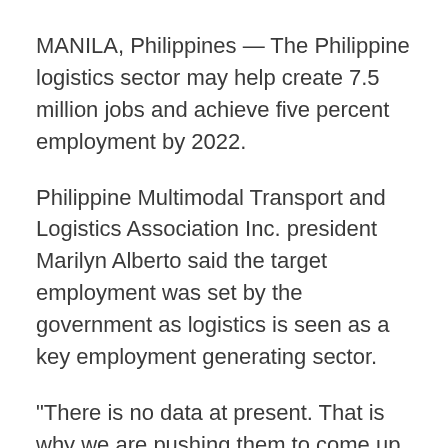MANILA, Philippines — The Philippine logistics sector may help create 7.5 million jobs and achieve five percent employment by 2022.
Philippine Multimodal Transport and Logistics Association Inc. president Marilyn Alberto said the target employment was set by the government as logistics is seen as a key employment generating sector.
“There is no data at present. That is why we are pushing them to come up with more monitoring of the data, so that we know where we are and where we are going,” she said.
To achieve the target and allow the logistics sector